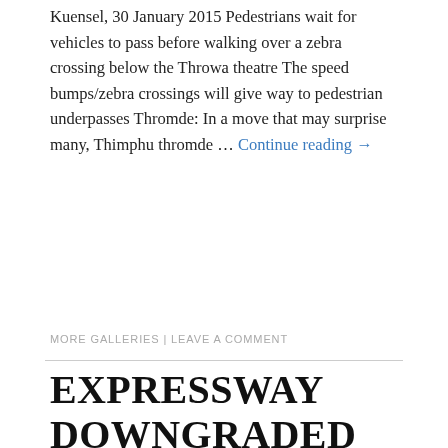Kuensel, 30 January 2015 Pedestrians wait for vehicles to pass before walking over a zebra crossing below the Throwa theatre The speed bumps/zebra crossings will give way to pedestrian underpasses Thromde: In a move that may surprise many, Thimphu thromde … Continue reading →
MORE GALLERIES | LEAVE A COMMENT
EXPRESSWAY DOWNGRADED
by DORJI posted on JULY 26, 2014
Safety first, with speed bumps for drivers and zebra crossings for pedestrians Kuensel – 1 July 2014 Expressway: The Thimphu-Babesa expressway will no longer be called by that name. It will be a part of the